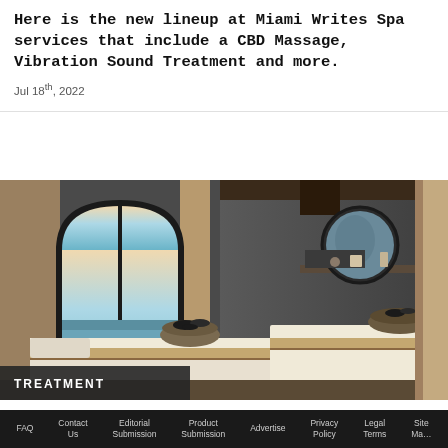Here is the new lineup at Miami Writes Spa services that include a CBD Massage, Vibration Sound Treatment and more.
Jul 18th, 2022
[Figure (photo): Spa treatment room with arched window overlooking the ocean, two massage tables with white linens, circular mirror on textured grey wall, warm ambient lighting.]
TREATMENT
Baja-Inspired Spa Treatments at Mexico Grand
FAQ   Contact Us   Editorial Submission   Product Submission   Advertise   Privacy Policy   Legal Terms   Site Map